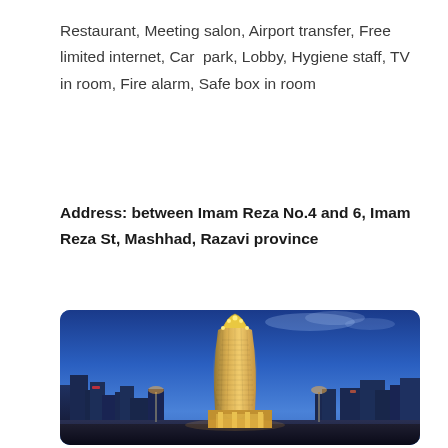Restaurant, Meeting salon, Airport transfer, Free limited internet, Car  park, Lobby, Hygiene staff, TV in room, Fire alarm, Safe box in room
Address: between Imam Reza No.4 and 6, Imam Reza St, Mashhad, Razavi province
[Figure (photo): Nighttime photo of a modern illuminated hotel tower (curved glass facade with gold lighting) in Mashhad, Iran, taken against a blue evening sky with city buildings in the background.]